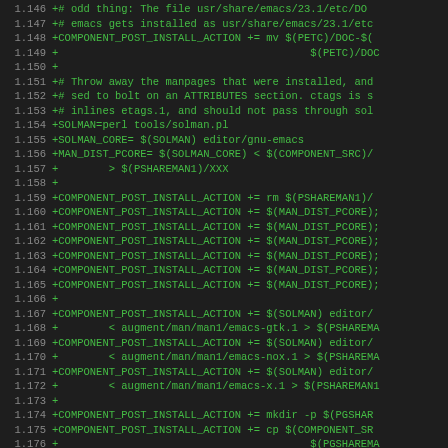Diff/patch code listing lines 1.146 through 1.178 showing shell script additions with COMPONENT_POST_INSTALL_ACTION and related build system commands for emacs installation and man page processing.